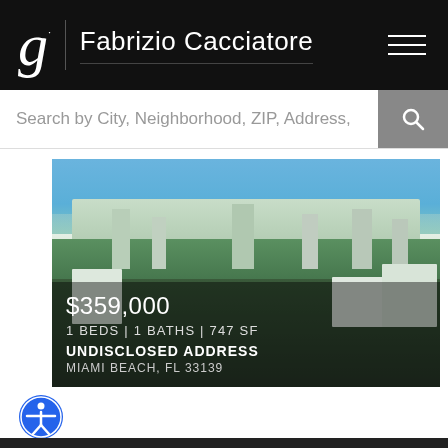g Fabrizio Cacciatore
Search by City, Neighborhood, ZIP, Address,
[Figure (photo): Aerial cityscape photo of Miami Beach showing buildings and skyline with price overlay: $359,000, 1 BEDS | 1 BATHS | 747 SF, UNDISCLOSED ADDRESS, MIAMI BEACH, FL 33139]
[Figure (illustration): Blue circular accessibility icon (person with arms outstretched in circle)]